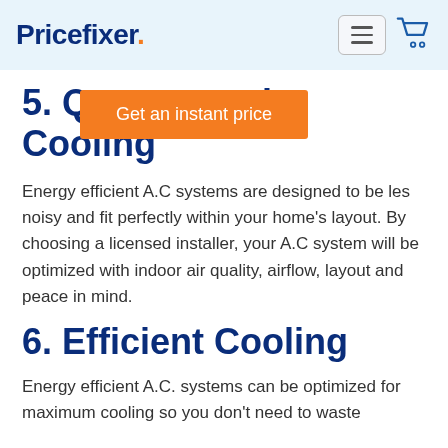Pricefixer
5. Quick Cooling
Energy efficient A.C systems are designed to be les noisy and fit perfectly within your home's layout. By choosing a licensed installer, your A.C system will be optimized with indoor air quality, airflow, layout and peace in mind.
6. Efficient Cooling
Energy efficient A.C. systems can be optimized for maximum cooling so you don't need to waste